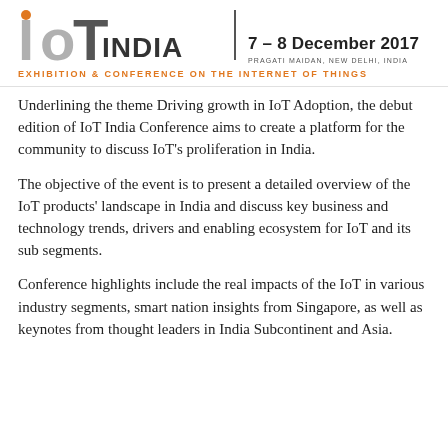[Figure (logo): IoT India logo with large stylized 'IoT' text in grey and dark letters, followed by 'INDIA' in bold dark grey, a vertical divider, date '7–8 December 2017', venue 'Pragati Maidan, New Delhi, India', and orange subtitle 'Exhibition & Conference on the Internet of Things']
Underlining the theme Driving growth in IoT Adoption, the debut edition of IoT India Conference aims to create a platform for the community to discuss IoT's proliferation in India.
The objective of the event is to present a detailed overview of the IoT products' landscape in India and discuss key business and technology trends, drivers and enabling ecosystem for IoT and its sub segments.
Conference highlights include the real impacts of the IoT in various industry segments, smart nation insights from Singapore, as well as keynotes from thought leaders in India Subcontinent and Asia.